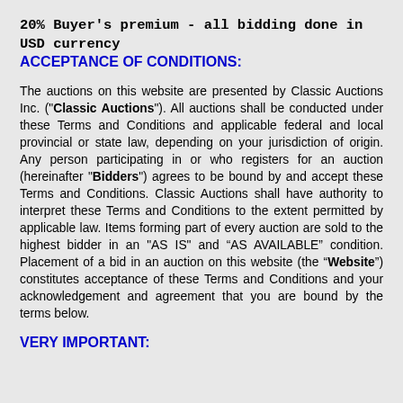20% Buyer's premium - all bidding done in USD currency
ACCEPTANCE OF CONDITIONS:
The auctions on this website are presented by Classic Auctions Inc. ("Classic Auctions"). All auctions shall be conducted under these Terms and Conditions and applicable federal and local provincial or state law, depending on your jurisdiction of origin. Any person participating in or who registers for an auction (hereinafter "Bidders") agrees to be bound by and accept these Terms and Conditions. Classic Auctions shall have authority to interpret these Terms and Conditions to the extent permitted by applicable law. Items forming part of every auction are sold to the highest bidder in an "AS IS" and “AS AVAILABLE” condition. Placement of a bid in an auction on this website (the “Website”) constitutes acceptance of these Terms and Conditions and your acknowledgement and agreement that you are bound by the terms below.
VERY IMPORTANT: